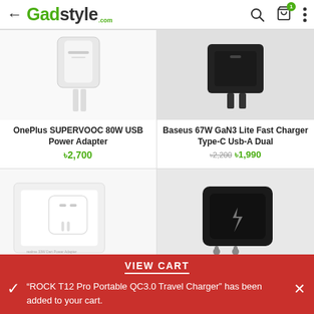← Gadstyle.com [search] [cart 1] [menu]
[Figure (photo): OnePlus SUPERVOOC 80W USB Power Adapter product image - white charger on white background]
OnePlus SUPERVOOC 80W USB Power Adapter
৳2,700
[Figure (photo): Baseus 67W GaN3 Lite Fast Charger Type-C Usb-A Dual - black charger on grey background]
Baseus 67W GaN3 Lite Fast Charger Type-C Usb-A Dual
৳2,200 ৳1,990
[Figure (photo): White USB charger in box - realme 33W Dart Power Adapter packaging]
[Figure (photo): Black compact EU plug charger with lightning bolt symbol]
VIEW CART
"ROCK T12 Pro Portable QC3.0 Travel Charger" has been added to your cart.